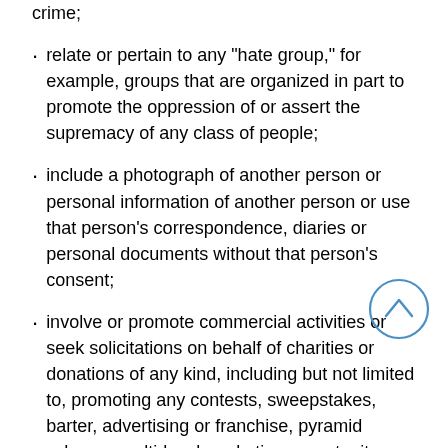crime;
relate or pertain to any "hate group," for example, groups that are organized in part to promote the oppression of or assert the supremacy of any class of people;
include a photograph of another person or personal information of another person or use that person's correspondence, diaries or personal documents without that person's consent;
involve or promote commercial activities or seek solicitations on behalf of charities or donations of any kind, including but not limited to, promoting any contests, sweepstakes, barter, advertising or franchise, pyramid scheme, multi-level marketing opportunity, "club membership", distributorship or sales representative agency arrangement or other business opportunity;
further or promote any criminal activity or enterprise or